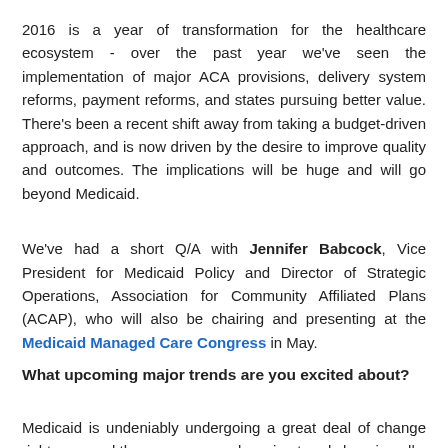2016 is a year of transformation for the healthcare ecosystem - over the past year we've seen the implementation of major ACA provisions, delivery system reforms, payment reforms, and states pursuing better value. There's been a recent shift away from taking a budget-driven approach, and is now driven by the desire to improve quality and outcomes. The implications will be huge and will go beyond Medicaid.
We've had a short Q/A with Jennifer Babcock, Vice President for Medicaid Policy and Director of Strategic Operations, Association for Community Affiliated Plans (ACAP), who will also be chairing and presenting at the Medicaid Managed Care Congress in May.
What upcoming major trends are you excited about?
Medicaid is undeniably undergoing a great deal of change right now, and there are many advancing trends keeping all